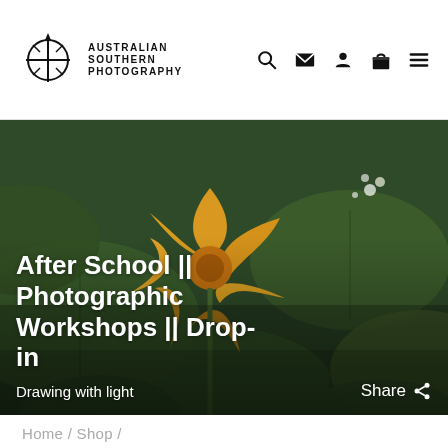Australian Southern Photography
[Figure (photo): Close-up photograph of a yellow-orange squash or pumpkin flower blossom among green leaves and small white wildflowers in a garden setting. The image serves as a hero banner for the page.]
After School || Photographic Workshops || Drop-in
Drawing with light
Share
Home / Shop /